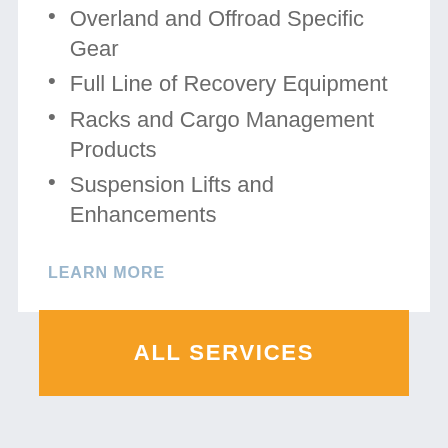Overland and Offroad Specific Gear
Full Line of Recovery Equipment
Racks and Cargo Management Products
Suspension Lifts and Enhancements
LEARN MORE
ALL SERVICES